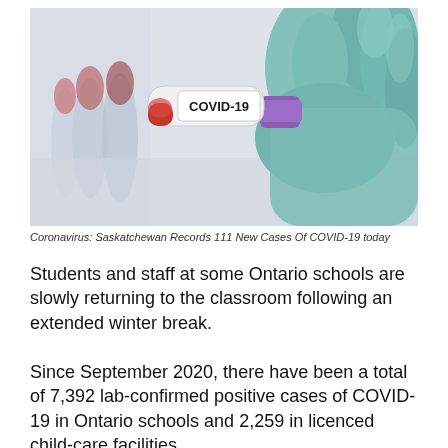[Figure (photo): A gloved hand (teal/blue medical glove) holding a blood sample test tube labeled 'COVID-19' with a white label and purple cap, with other red-capped vials blurred in the background.]
Coronavirus: Saskatchewan Records 111 New Cases Of COVID-19 today
Students and staff at some Ontario schools are slowly returning to the classroom following an extended winter break.
Since September 2020, there have been a total of 7,392 lab-confirmed positive cases of COVID-19 in Ontario schools and 2,259 in licenced child-care facilities.